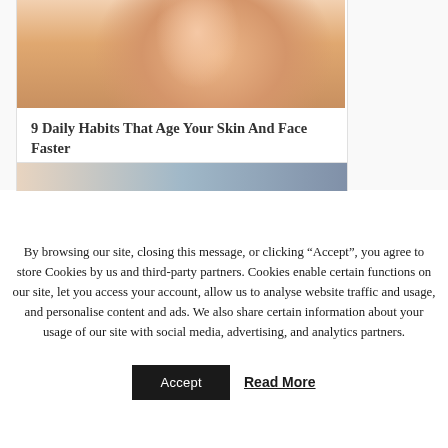[Figure (photo): Partial view of a woman touching her face/neck, used as thumbnail for article about skin aging]
9 Daily Habits That Age Your Skin And Face Faster
[Figure (photo): Partially visible second article thumbnail image]
By browsing our site, closing this message, or clicking “Accept”, you agree to store Cookies by us and third-party partners. Cookies enable certain functions on our site, let you access your account, allow us to analyse website traffic and usage, and personalise content and ads. We also share certain information about your usage of our site with social media, advertising, and analytics partners.
Accept   Read More